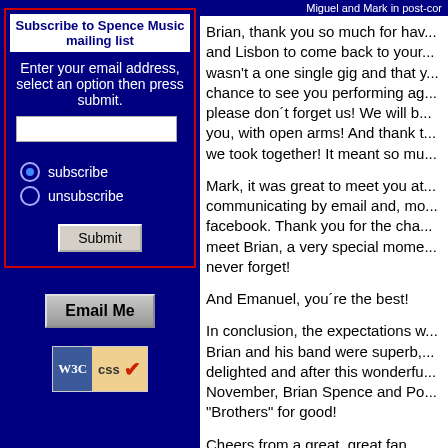Subscribe to Spence Music mailing list
Enter your email address, select an option then press submit.
subscribe / unsubscribe radio options
[Figure (screenshot): Email Me button]
[Figure (logo): W3C CSS validation badge]
Miguel and Mark in post-cor
Brian, thank you so much for hav... and Lisbon to come back to your... wasn't a one single gig and that y... chance to see you performing ag... please don't forget us! We will b... you, with open arms! And thank t... we took together! It meant so mu...
Mark, it was great to meet you at... communicating by email and, mo... facebook. Thank you for the cha... meet Brian, a very special mome... never forget!
And Emanuel, you´re the best!
In conclusion, the expectations w... Brian and his band were superb,... delighted and after this wonderfu... November, Brian Spence and Po... "Brothers" for good!
Cheers from a great, great fan...